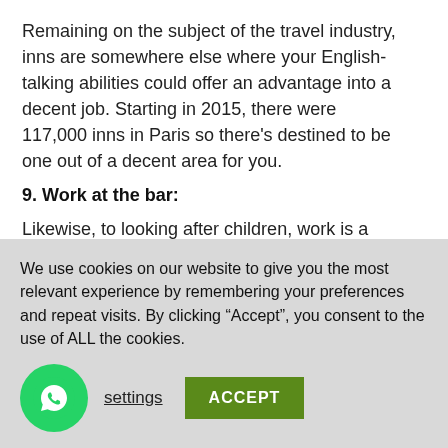Remaining on the subject of the travel industry, inns are somewhere else where your English-talking abilities could offer an advantage into a decent job. Starting in 2015, there were 117,000 inns in Paris so there's destined to be one out of a decent area for you.
9. Work at the bar:
Likewise, to looking after children, work is a mainstream understudy work any place you go. With a bar on each city intersection, Paris' drinking scene is an exuberant one. If you've had experience as an understudy serving drinks in a
We use cookies on our website to give you the most relevant experience by remembering your preferences and repeat visits. By clicking “Accept”, you consent to the use of ALL the cookies.